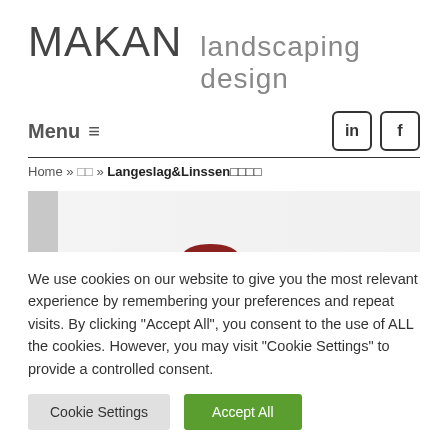MAKAN landscaping design
Menu ≡
Home » ?? » Langeslag&Linssen????
[Figure (photo): Partially visible website banner image with light background and a dark red/maroon element at bottom center]
We use cookies on our website to give you the most relevant experience by remembering your preferences and repeat visits. By clicking "Accept All", you consent to the use of ALL the cookies. However, you may visit "Cookie Settings" to provide a controlled consent.
Cookie Settings | Accept All